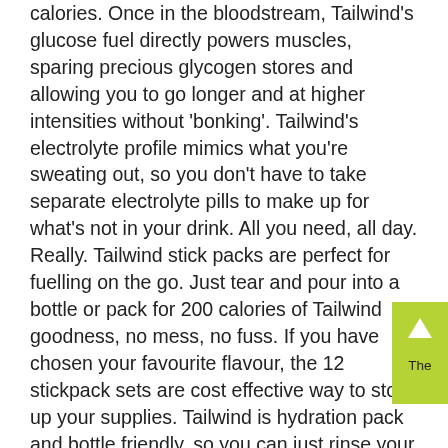calories. Once in the bloodstream, Tailwind's glucose fuel directly powers muscles, sparing precious glycogen stores and allowing you to go longer and at higher intensities without 'bonking'. Tailwind's electrolyte profile mimics what you're sweating out, so you don't have to take separate electrolyte pills to make up for what's not in your drink. All you need, all day. Really. Tailwind stick packs are perfect for fuelling on the go. Just tear and pour into a bottle or pack for 200 calories of Tailwind goodness, no mess, no fuss. If you have chosen your favourite flavour, the 12 stickpack sets are cost effective way to stock up your supplies. Tailwind is hydration pack and bottle friendly, so you can just rinse your bottle or bladder with no funky aftertaste or smell. Not all stomachs can handle the sticky sweetness or hard-to-digest molecules found in most nutrition products. Sipping Tailwind provides steady, small doses of fuel that pass right through the stomach. No surprise, then, that it includes only all-natural ingredients and organic flavours. The Caffeinated Endurance Fuel pushes that mission a step further, adding 35mg of caffeine per scoop in order to provide a little